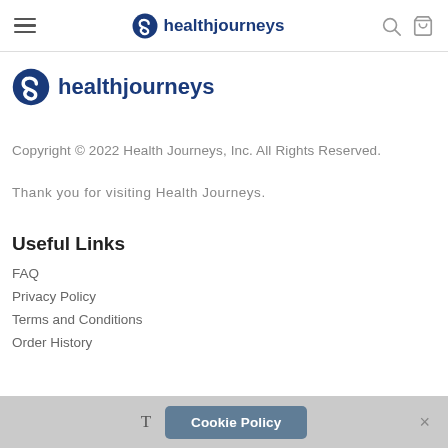healthjourneys navigation bar
[Figure (logo): Health Journeys logo with blue S swirl icon and 'healthjourneys' text in dark blue]
Copyright © 2022 Health Journeys, Inc. All Rights Reserved.
Thank you for visiting Health Journeys.
Useful Links
FAQ
Privacy Policy
Terms and Conditions
Order History
T  Cookie Policy  ×